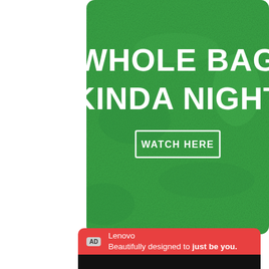[Figure (screenshot): Green textured advertisement banner with white bold text 'WHOLE BAG KINDA NIGHT' and a white outlined button 'WATCH HERE']
POWERED BY CONCERT    FEEDBACK
[Figure (screenshot): Lenovo advertisement banner with red background showing 'AD' badge, text 'Lenovo Beautifully designed to just be you.' and a black bar below]